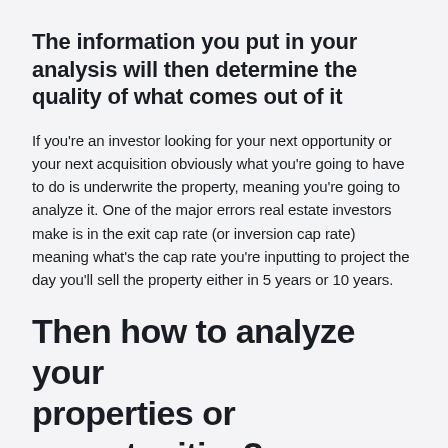The information you put in your analysis will then determine the quality of what comes out of it
If you're an investor looking for your next opportunity or your next acquisition obviously what you're going to have to do is underwrite the property, meaning you're going to analyze it. One of the major errors real estate investors make is in the exit cap rate (or inversion cap rate) meaning what's the cap rate you're inputting to project the day you'll sell the property either in 5 years or 10 years.
Then how to analyze your properties or opportunities?
In the 1 hour Webinar, we'll see what you should instead